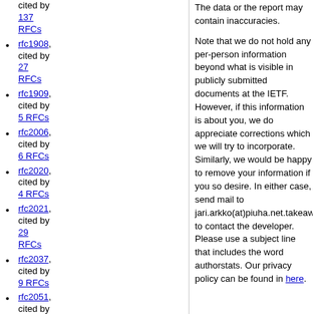cited by 137 RFCs
rfc1908, cited by 27 RFCs
rfc1909, cited by 5 RFCs
rfc2006, cited by 6 RFCs
rfc2020, cited by 4 RFCs
rfc2021, cited by 29 RFCs
rfc2037, cited by 9 RFCs
rfc2051, cited by 3 RFCs
rfc2064, cited by
The data or the report may contain inaccuracies.

Note that we do not hold any per-person information beyond what is visible in publicly submitted documents at the IETF. However, if this information is about you, we do appreciate corrections which we will try to incorporate. Similarly, we would be happy to remove your information if you so desire. In either case, send mail to jari.arkko(at)piuha.net.takeaway to contact the developer. Please use a subject line that includes the word authorstats. Our privacy policy can be found in here.